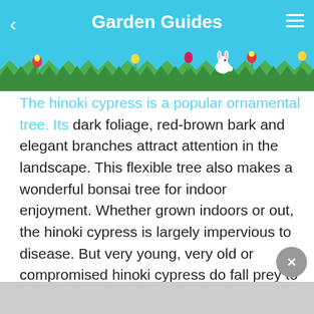Garden Guides
The hinoki cypress is a popular ornamental tree. Its dark foliage, red-brown bark and elegant branches attract attention in the landscape. This flexible tree also makes a wonderful bonsai tree for indoor enjoyment. Whether grown indoors or out, the hinoki cypress is largely impervious to disease. But very young, very old or compromised hinoki cypress do fall prey to a few diseases.